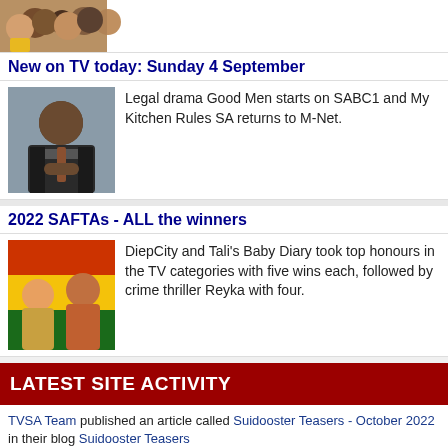[Figure (photo): Group photo of several people smiling, partial view at top of page]
New on TV today: Sunday 4 September
[Figure (photo): Man in suit with hands clasped, on grey background]
Legal drama Good Men starts on SABC1 and My Kitchen Rules SA returns to M-Net.
2022 SAFTAs - ALL the winners
[Figure (photo): Two people at awards ceremony with colorful background]
DiepCity and Tali’s Baby Diary took top honours in the TV categories with five wins each, followed by crime thriller Reyka with four.
LATEST SITE ACTIVITY
TVSA Team published an article called Suidooster Teasers - October 2022 in their blog Suidooster Teasers
thelionking replied to the article House of Zwide Teasers - July 2022
thelionking replied to the article House of Zwide extended teaser: Season 1 finale
thelionking replied to the article House of Zwide 2 Teasers - August 2022
thelionking replied to the article House of Zwide extended teaser: Let’s get physical